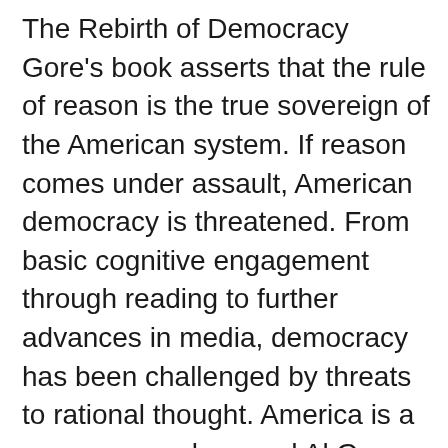The Rebirth of Democracy Gore's book asserts that the rule of reason is the true sovereign of the American system. If reason comes under assault, American democracy is threatened. From basic cognitive engagement through reading to further advances in media, democracy has been challenged by threats to rational thought. America is a courageous place and Al Gore loves his country dearly. The Constitution is the sacred centre of everything a country does. Without abiding by a constitution, then entire country is drawn in a state of disrepute. Should we continue to live as a people under the rule of law embodied in the constitution? Gore believes it's the